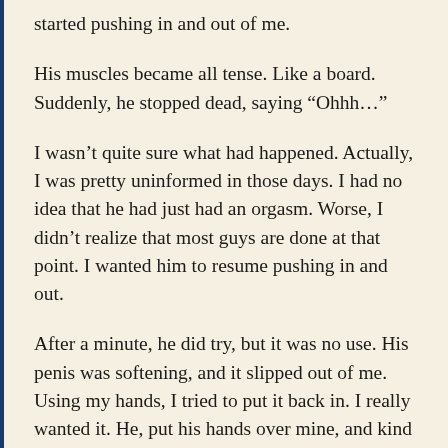started pushing in and out of me.
His muscles became all tense. Like a board. Suddenly, he stopped dead, saying “Ohhh…”
I wasn’t quite sure what had happened. Actually, I was pretty uninformed in those days. I had no idea that he had just had an orgasm. Worse, I didn’t realize that most guys are done at that point. I wanted him to resume pushing in and out.
After a minute, he did try, but it was no use. His penis was softening, and it slipped out of me. Using my hands, I tried to put it back in. I really wanted it. He, put his hands over mine, and kind of cringed.